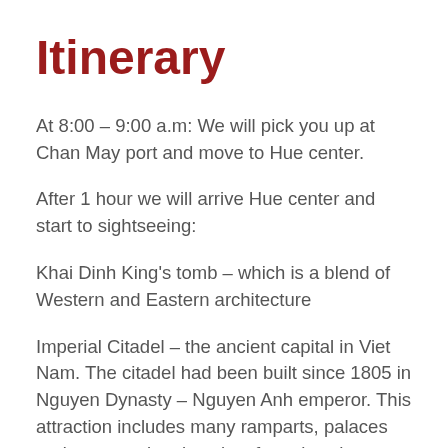Itinerary
At 8:00 – 9:00 a.m: We will pick you up at Chan May port and move to Hue center.
After 1 hour we will arrive Hue center and start to sightseeing:
Khai Dinh King's tomb – which is a blend of Western and Eastern architecture
Imperial Citadel – the ancient capital in Viet Nam. The citadel had been built since 1805 in Nguyen Dynasty – Nguyen Anh emperor. This attraction includes many ramparts, palaces and constructional works of royal such as Thai Hoa palace, Hung temple, Trieu temple, Duyet